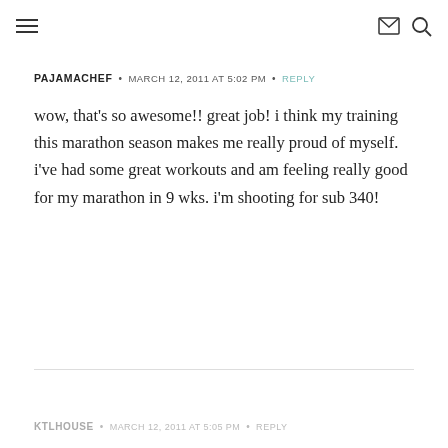Navigation header with hamburger menu, mail icon, and search icon
PAJAMACHEF · MARCH 12, 2011 AT 5:02 PM · REPLY
wow, that's so awesome!! great job! i think my training this marathon season makes me really proud of myself. i've had some great workouts and am feeling really good for my marathon in 9 wks. i'm shooting for sub 340!
KTLHOUSE · MARCH 12, 2011 AT 5:05 PM · REPLY